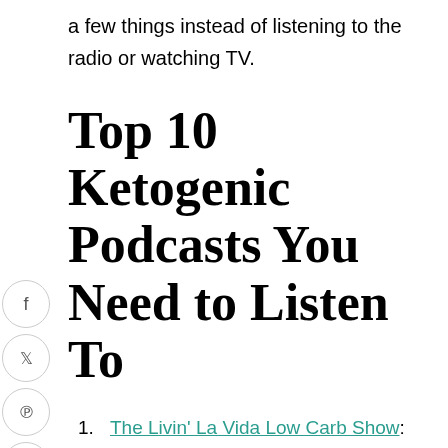a few things instead of listening to the radio or watching TV.
Top 10 Ketogenic Podcasts You Need to Listen To
The Livin' La Vida Low Carb Show: This is one of my favorites! Jimmy Moore is the longest running health podcast. He interviews leading experts in the field and I learn